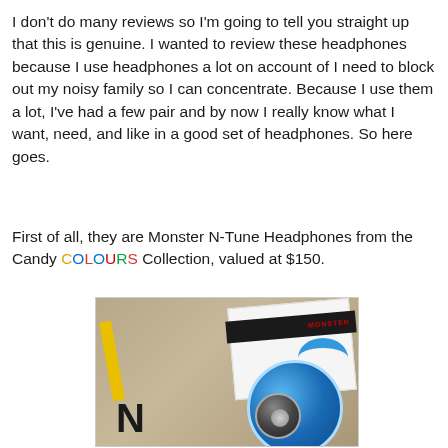I don't do many reviews so I'm going to tell you straight up that this is genuine. I wanted to review these headphones because I use headphones a lot on account of I need to block out my noisy family so I can concentrate. Because I use them a lot, I've had a few pair and by now I really know what I want, need, and like in a good set of headphones. So here goes.
First of all, they are Monster N-Tune Headphones from the Candy COLOURS Collection, valued at $150.
[Figure (photo): Photo of Monster N-Tune blue headphones partially out of white product box on a tan/beige fabric background. The box has a black stripe with Monster logo in red. A yellow stripe is visible on the left side of the box. The blue metallic headphone ear cup is prominently visible with the letter N on the box below.]